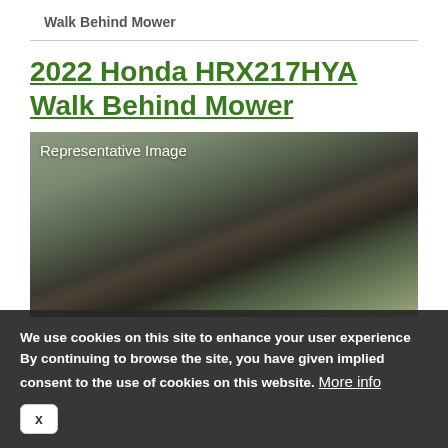Walk Behind Mower
2022 Honda HRX217HYA Walk Behind Mower
[Figure (photo): Photograph of a walk-behind lawn mower on grass with a blurred background, labeled 'Representative Image']
We use cookies on this site to enhance your user experience By continuing to browse the site, you have given implied consent to the use of cookies on this website. More info